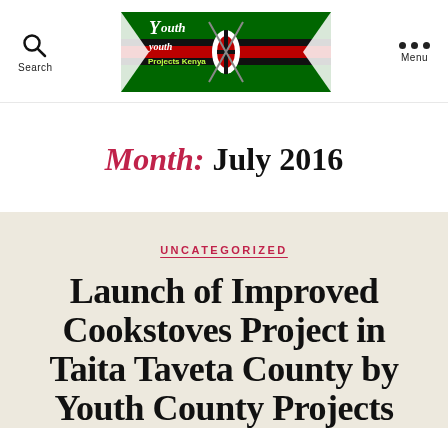Youth Projects Kenya — Search | Menu
[Figure (logo): Youth Projects Kenya logo with Kenyan flag background]
Month: July 2016
UNCATEGORIZED
Launch of Improved Cookstoves Project in Taita Taveta County by Youth County Projects